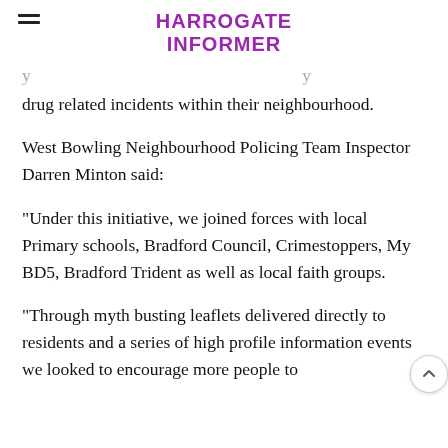HARROGATE INFORMER
drug related incidents within their neighbourhood.
West Bowling Neighbourhood Policing Team Inspector Darren Minton said:
“Under this initiative, we joined forces with local Primary schools, Bradford Council, Crimestoppers, My BD5, Bradford Trident as well as local faith groups.
“Through myth busting leaflets delivered directly to residents and a series of high profile information events we looked to encourage more people to